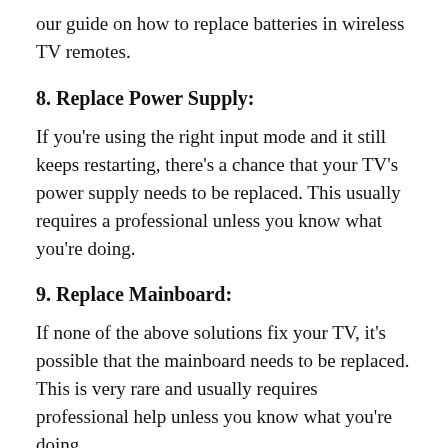our guide on how to replace batteries in wireless TV remotes.
8. Replace Power Supply:
If you're using the right input mode and it still keeps restarting, there's a chance that your TV's power supply needs to be replaced. This usually requires a professional unless you know what you're doing.
9. Replace Mainboard:
If none of the above solutions fix your TV, it's possible that the mainboard needs to be replaced. This is very rare and usually requires professional help unless you know what you're doing.